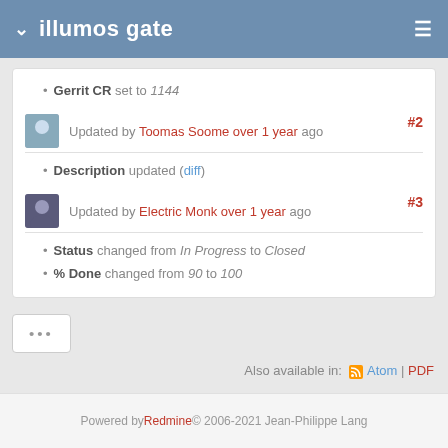illumos gate
Gerrit CR set to 1144
Updated by Toomas Soome over 1 year ago #2
Description updated (diff)
Updated by Electric Monk over 1 year ago #3
Status changed from In Progress to Closed
% Done changed from 90 to 100
...
Also available in: Atom | PDF
Powered by Redmine © 2006-2021 Jean-Philippe Lang